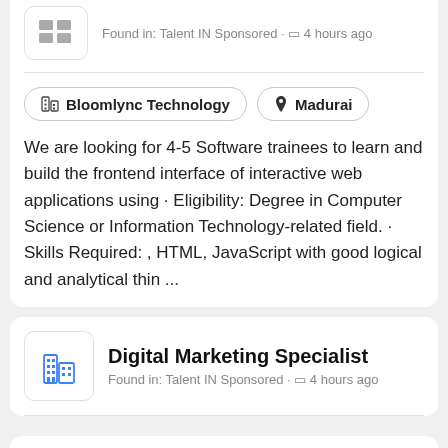Found in: Talent IN Sponsored · 4 hours ago
Bloomlync Technology
Madurai
We are looking for 4-5 Software trainees to learn and build the frontend interface of interactive web applications using · Eligibility: Degree in Computer Science or Information Technology-related field. · Skills Required: , HTML, JavaScript with good logical and analytical thin ...
Digital Marketing Specialist
Found in: Talent IN Sponsored · 4 hours ago